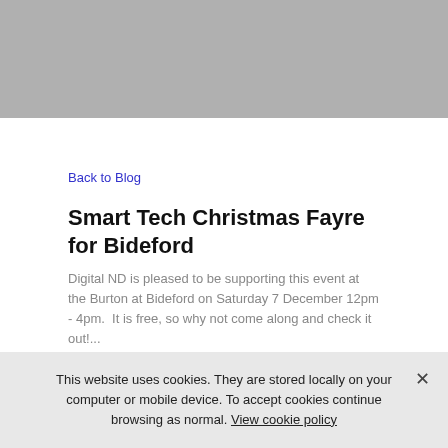[Figure (other): Gray header banner at top of page]
Back to Blog
Smart Tech Christmas Fayre for Bideford
Digital ND is pleased to be supporting this event at the Burton at Bideford on Saturday 7 December 12pm - 4pm.  It is free, so why not come along and check it out!...
November 20, 2019
Calling budding VR Designers & Minecrafters
Are you aged between 15 - 19 years old with an interest in VR design? Or are you 8 - 12 who could discover the magic of reading with Minecraft?  Or maybe you could capture the interest of a young person you know to spark their engagement in tech?  If so, then check
This website uses cookies. They are stored locally on your computer or mobile device. To accept cookies continue browsing as normal. View cookie policy